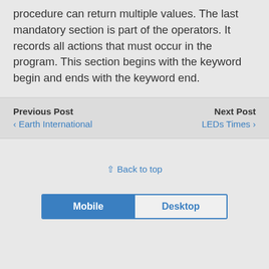procedure can return multiple values. The last mandatory section is part of the operators. It records all actions that must occur in the program. This section begins with the keyword begin and ends with the keyword end.
Previous Post
‹ Earth International
Next Post
LEDs Times ›
⇪ Back to top
Mobile  Desktop